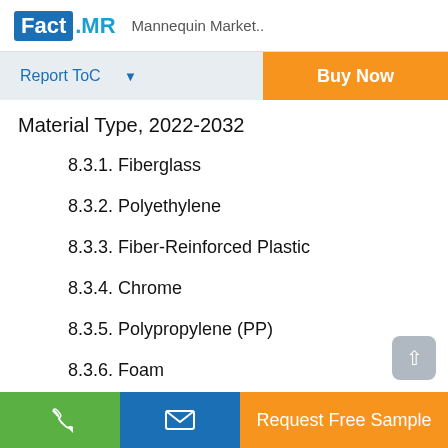Fact.MR  Mannequin Market..
Report ToC  ▼   Buy Now
Material Type, 2022-2032
8.3.1. Fiberglass
8.3.2. Polyethylene
8.3.3. Fiber-Reinforced Plastic
8.3.4. Chrome
8.3.5. Polypropylene (PP)
8.3.6. Foam
Request Free Sample